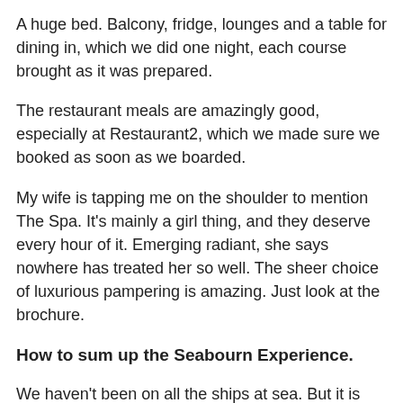A huge bed. Balcony, fridge, lounges and a table for dining in, which we did one night, each course brought as it was prepared.
The restaurant meals are amazingly good, especially at Restaurant2, which we made sure we booked as soon as we boarded.
My wife is tapping me on the shoulder to mention The Spa. It's mainly a girl thing, and they deserve every hour of it. Emerging radiant, she says nowhere has treated her so well. The sheer choice of luxurious pampering is amazing. Just look at the brochure.
How to sum up the Seabourn Experience.
We haven't been on all the ships at sea. But it is difficult to imagine anything that could top our Seabourn adventure.
For us it was sunshine, sipping and sightseeing in a Mediterranean summer. You might choose quite another part of the world. The oceans await you. Your horizons may be